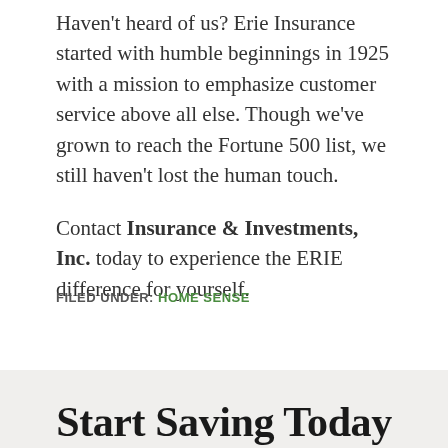Haven't heard of us? Erie Insurance started with humble beginnings in 1925 with a mission to emphasize customer service above all else. Though we've grown to reach the Fortune 500 list, we still haven't lost the human touch.
Contact Insurance & Investments, Inc. today to experience the ERIE difference for yourself.
FILED UNDER: HOME SENSE
Start Saving Today